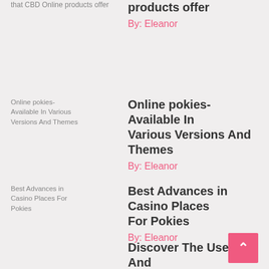that CBD Online products offer
By: Eleanor
[Figure (screenshot): Broken image placeholder for 'Online pokies- Available In Various Versions And Themes']
Online pokies- Available In Various Versions And Themes
By: Eleanor
[Figure (screenshot): Broken image placeholder for 'Best Advances in Casino Places For Pokies']
Best Advances in Casino Places For Pokies
By: Eleanor
Discover The Uses And implication Of Cannabis To